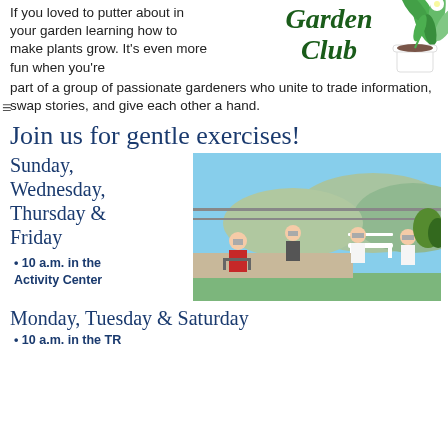If you loved to putter about in your garden learning how to make plants grow. It’s even more fun when you’re part of a group of passionate gardeners who unite to trade information, swap stories, and give each other a hand.
[Figure (logo): Garden Club logo with italic green serif text and a potted plant illustration]
Join us for gentle exercises!
Sunday, Wednesday, Thursday & Friday
10 a.m. in the Activity Center
[Figure (photo): Group of elderly people wearing masks doing gentle exercises seated outdoors on a patio with garden flowers and a scenic view behind them]
Monday, Tuesday & Saturday
10 a.m. in the TR